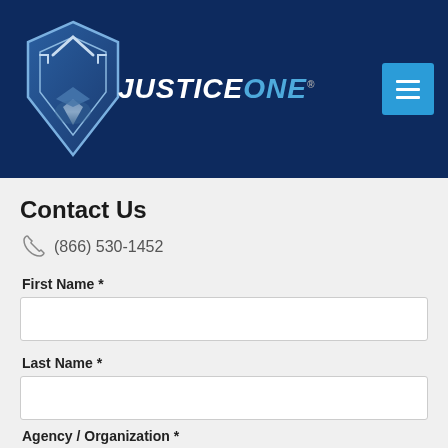[Figure (logo): JusticeOne logo with shield emblem on dark navy blue header background, with hamburger menu button in upper right]
Contact Us
(866) 530-1452
First Name *
Last Name *
Agency / Organization *